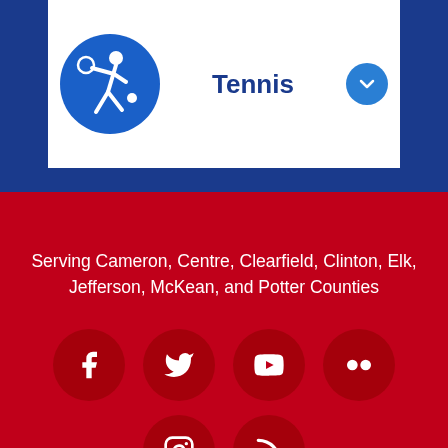[Figure (logo): Tennis icon: blue circle with white tennis player silhouette holding a racket]
Tennis
Serving Cameron, Centre, Clearfield, Clinton, Elk, Jefferson, McKean, and Potter Counties
[Figure (infographic): Social media icons row 1: Facebook, Twitter, YouTube, Flickr; row 2: Instagram, RSS]